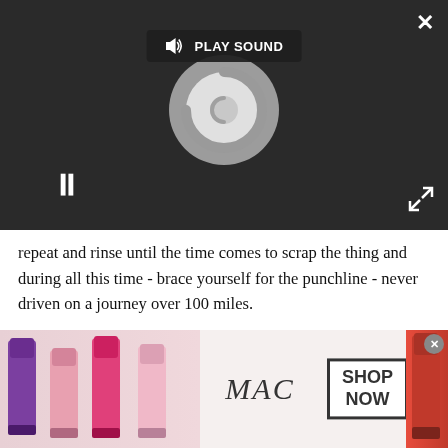[Figure (screenshot): A dark video player overlay showing a 'PLAY SOUND' button with speaker icon, a loading/spinning circle graphic, a pause button (II), and a fullscreen expand icon. A close X button is in the top right corner.]
repeat and rinse until the time comes to scrap the thing and during all this time - brace yourself for the punchline - never driven on a journey over 100 miles.
It also just so happens that the B-segment is the biggest seller in the UK. Actual sales numbers vary according to how you define a B-segment car. The Society of Motor Manufacturers and Traders (SMMT) puts what it calls 'mini and supermini' sales at 900,000 units last year.
[Figure (photo): MAC Cosmetics advertisement banner showing colourful lipsticks on the left, the MAC logo in the centre, and a 'SHOP NOW' box on the right with a red lipstick on the far right.]